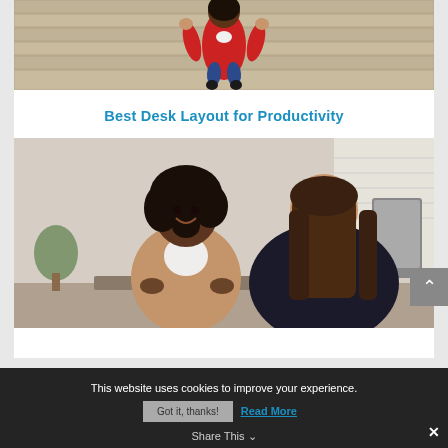[Figure (photo): Overhead view of a person in a red shirt lying or stretching on a wooden floor]
Best Desk Layout for Productivity
[Figure (photo): Two women sitting at a desk in an office, one smiling facing camera (Black woman, curly hair, tan blazer), the other seen from behind (long brunette hair, dark blazer)]
This website uses cookies to improve your experience.
Got it, thanks!
Read More
Share This